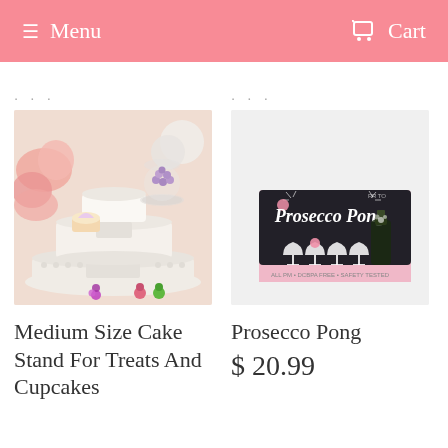Menu   Cart
[Figure (photo): A tiered white cake stand with a glass cloche holding purple candy pearls, a cupcake, colorful flower decorations, and pink flowers in the background.]
[Figure (photo): A box of 'Prosecco Pong' game with champagne coupe glasses and a bottle on a black and pink box.]
Medium Size Cake Stand For Treats And Cupcakes
Prosecco Pong
$ 20.99